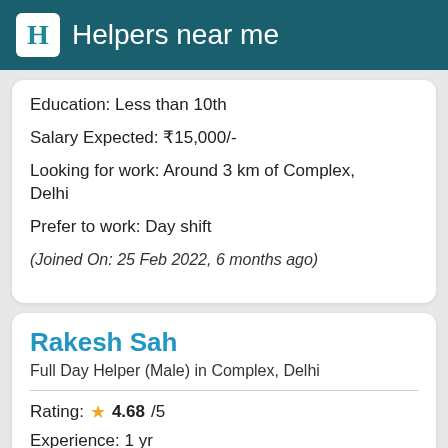Helpers near me
Education: Less than 10th
Salary Expected: ₹15,000/-
Looking for work: Around 3 km of Complex, Delhi
Prefer to work: Day shift
(Joined On: 25 Feb 2022, 6 months ago)
Rakesh Sah
Full Day Helper (Male) in Complex, Delhi
Rating: ★ 4.68/5
Experience: 1 yr
Find & Hire now →
Gender: Male
Marital Status: Married